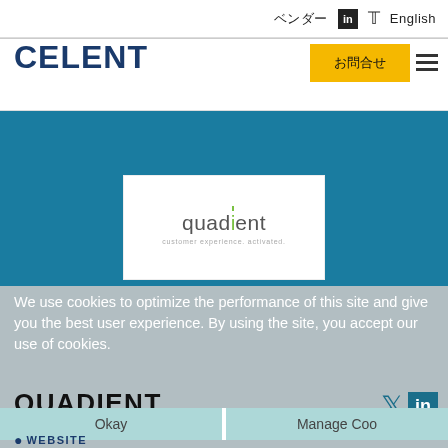ベンダー  LinkedIn  Twitter  English
CELENT
お問合せ
[Figure (logo): Quadient logo with tagline 'customer experience. activated.' on white background inside a teal banner]
We use cookies to optimize the performance of this site and give you the best user experience. By using the site, you accept our use of cookies.
QUADIENT
Okay
Manage Coo...
WEBSITE